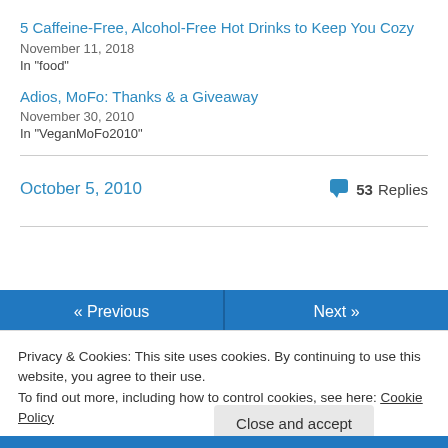5 Caffeine-Free, Alcohol-Free Hot Drinks to Keep You Cozy
November 11, 2018
In "food"
Adios, MoFo: Thanks & a Giveaway
November 30, 2010
In "VeganMoFo2010"
October 5, 2010   53 Replies
« Previous   Next »
Privacy & Cookies: This site uses cookies. By continuing to use this website, you agree to their use. To find out more, including how to control cookies, see here: Cookie Policy
Close and accept